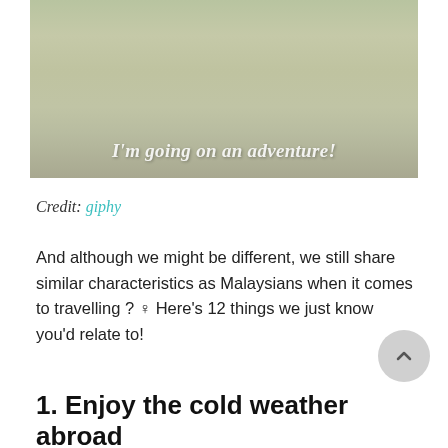[Figure (photo): A faded/muted outdoor nature photo showing people walking on a path, with a text overlay reading "I'm going on an adventure!"]
Credit: giphy
And although we might be different, we still share similar characteristics as Malaysians when it comes to travelling ? ♀ Here's 12 things we just know you'd relate to!
1. Enjoy the cold weather abroad